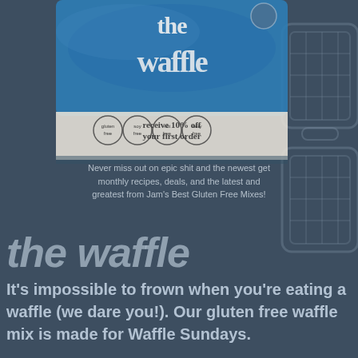[Figure (photo): Product packaging for 'the waffle' gluten free mix by Jam's Best Gluten Free Mixes. Blue bag with large white text 'the waffle'. Lower portion of bag shows white/cream area with text 'receive 10% off your first order' and four circular badges: gluten free, soy free, nut free, dairy free. GF certification logo visible.]
[Figure (illustration): Waffle iron outline illustration on the right side of the page, shown as a line drawing with grid pattern, semi-transparent overlay]
Never miss out on epic shit and the newest get monthly recipes, deals, and the latest and greatest from Jam's Best Gluten Free Mixes!
the waffle
It's impossible to frown when you're eating a waffle (we dare you!). Our gluten free waffle mix is made for Waffle Sundays.